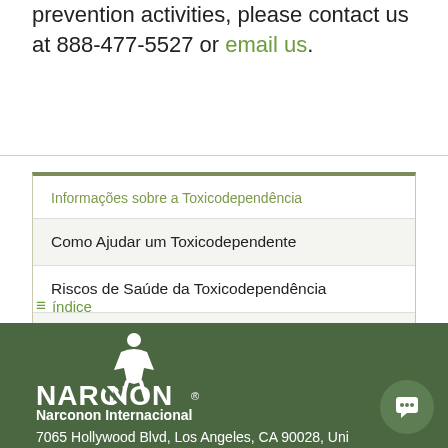prevention activities, please contact us at 888-477-5527 or email us.
Informações sobre a Toxicodependência
Como Ajudar um Toxicodependente
Riscos de Saúde da Toxicodependência
Os Efeitos da Toxicodependência
≡ índice
[Figure (logo): Narconon logo with figure and text]
Narconon Internacional
7065 Hollywood Blvd, Los Angeles, CA 90028, United States